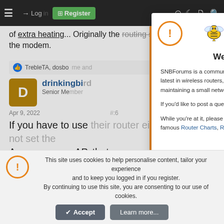[Figure (screenshot): SNBForums website screenshot showing navigation bar with hamburger menu, Login, Register buttons and icons]
of extra heating... Originally the routing setup broke on the modem.
Last edited: Apr 9, 2022
TrebleTA, dosborne and ...
[Figure (screenshot): User avatar D (drinkingbird, Senior Member)]
drinkingbird
Senior Member
Apr 9, 2022
If you have to use their router either way, why not set the Asus up as an AP, that way you eliminate the double NAT,
[Figure (screenshot): SNBForums welcome modal dialog with bee logo, welcome text and community description]
Welcome To SNBForums
SNBForums is a community for anyone who wants to learn about or discuss the latest in wireless routers, network storage and the ins and outs of building and maintaining a small network.

If you'd like to post a question, simply register and have at it!

While you're at it, please check out SmallNetBuilder for product reviews and our famous Router Charts, Ranker and plenty more!
This site uses cookies to help personalise content, tailor your experience and to keep you logged in if you register.
By continuing to use this site, you are consenting to our use of cookies.
Accept    Learn more...